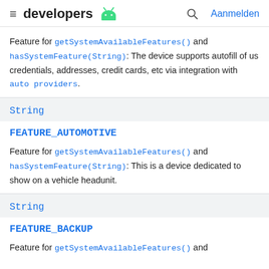developers | Aanmelden
Feature for getSystemAvailableFeatures() and hasSystemFeature(String): The device supports autofill of us credentials, addresses, credit cards, etc via integration with auto providers.
String
FEATURE_AUTOMOTIVE
Feature for getSystemAvailableFeatures() and hasSystemFeature(String): This is a device dedicated to show on a vehicle headunit.
String
FEATURE_BACKUP
Feature for getSystemAvailableFeatures() and